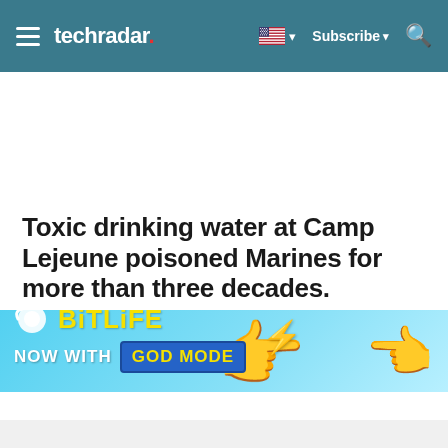techradar | Subscribe
Toxic drinking water at Camp Lejeune poisoned Marines for more than three decades.
Agency Y
[Figure (illustration): BitLife advertisement banner: 'NOW WITH GOD MODE' on a light blue background with cartoon hands pointing]